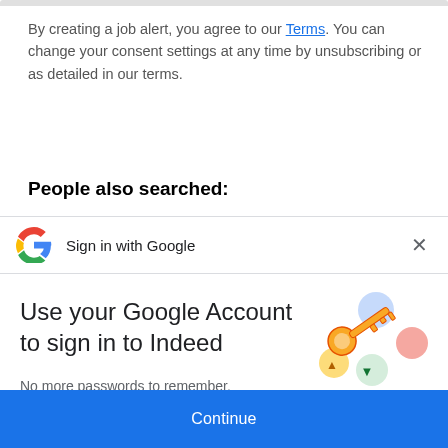By creating a job alert, you agree to our Terms. You can change your consent settings at any time by unsubscribing or as detailed in our terms.
People also searched:
[Figure (screenshot): Google Sign in with Google bar with Google G logo on left, 'Sign in with Google' text in center, and X close button on right]
Use your Google Account to sign in to Indeed
No more passwords to remember. Signing in is fast, simple and secure.
[Figure (illustration): Colorful key and circles illustration representing Google account security]
Continue